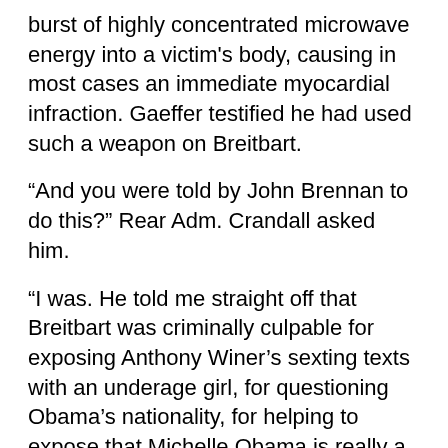burst of highly concentrated microwave energy into a victim's body, causing in most cases an immediate myocardial infraction. Gaeffer testified he had used such a weapon on Breitbart.
“And you were told by John Brennan to do this?” Rear Adm. Crandall asked him.
“I was. He told me straight off that Breitbart was criminally culpable for exposing Anthony Winer’s sexting texts with an underage girl, for questioning Obama’s nationality, for helping to expose that Michelle Obama is really a man. I was told to remove him with extreme prejudice,” Gaeffer said.
“Did you kill other people at Brennan’s request?” Rear Adm. Crandall asked.